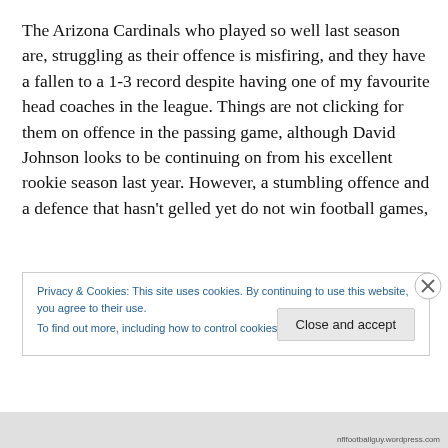The Arizona Cardinals who played so well last season are, struggling as their offence is misfiring, and they have a fallen to a 1-3 record despite having one of my favourite head coaches in the league. Things are not clicking for them on offence in the passing game, although David Johnson looks to be continuing on from his excellent rookie season last year. However, a stumbling offence and a defence that hasn't gelled yet do not win football games,
Privacy & Cookies: This site uses cookies. By continuing to use this website, you agree to their use.
To find out more, including how to control cookies, see here: Cookie Policy
Close and accept